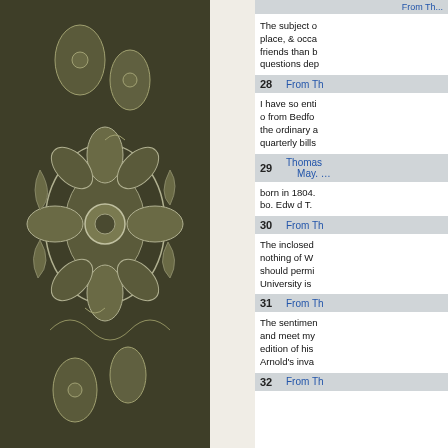[Figure (illustration): Decorative dark olive/brown background with white floral and paisley pattern on the left side of the page]
The subject of place, & occa friends than b questions dep
28   From Th
I have so enti o from Bedfo the ordinary a quarterly bills
29   Thomas May. …
born in 1804. bo. Edw d T.
30   From Th
The inclosed nothing of W should permi University is
31   From Th
The sentimen and meet my edition of his Arnold's inva
32   From Th